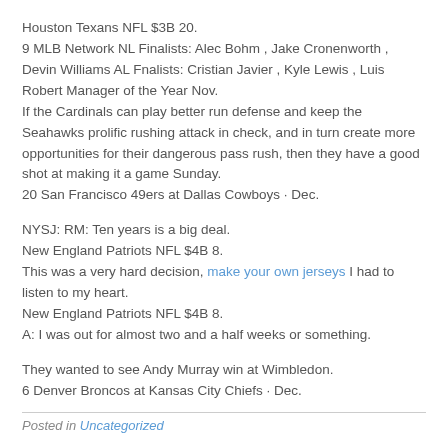Houston Texans NFL $3B 20.
9 MLB Network NL Finalists: Alec Bohm , Jake Cronenworth , Devin Williams AL Fnalists: Cristian Javier , Kyle Lewis , Luis Robert Manager of the Year Nov.
If the Cardinals can play better run defense and keep the Seahawks prolific rushing attack in check, and in turn create more opportunities for their dangerous pass rush, then they have a good shot at making it a game Sunday.
20 San Francisco 49ers at Dallas Cowboys · Dec.
NYSJ: RM: Ten years is a big deal.
New England Patriots NFL $4B 8.
This was a very hard decision, make your own jerseys I had to listen to my heart.
New England Patriots NFL $4B 8.
A: I was out for almost two and a half weeks or something.
They wanted to see Andy Murray win at Wimbledon.
6 Denver Broncos at Kansas City Chiefs · Dec.
Posted in Uncategorized